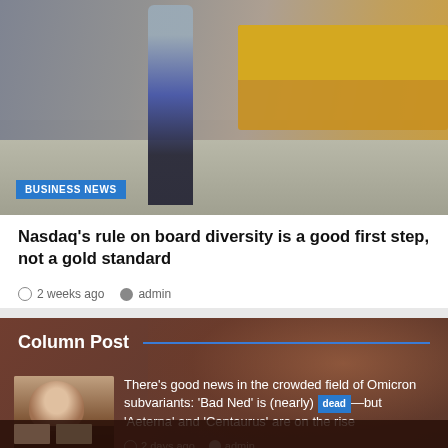[Figure (photo): Street scene photo showing a person walking with luggage in a city, with a yellow truck visible on the right side. A blue 'BUSINESS NEWS' badge overlays the bottom-left of the image.]
Nasdaq's rule on board diversity is a good first step, not a gold standard
2 weeks ago   admin
Column Post
[Figure (photo): Thumbnail photo of a person wearing a mask, with brown/reddish hair, looking down at a phone.]
There's good news in the crowded field of Omicron subvariants: 'Bad Ned' is (nearly) dead—but 'Aeterna' and 'Centaurus' are on the rise
2 days ago   admin